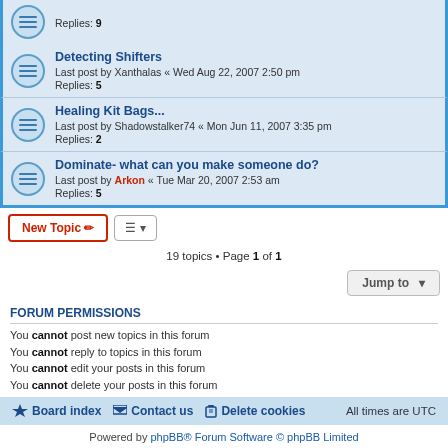Replies: 9
Detecting Shifters
Last post by Xanthalas « Wed Aug 22, 2007 2:50 pm
Replies: 5
Healing Kit Bags...
Last post by Shadowstalker74 « Mon Jun 11, 2007 3:35 pm
Replies: 2
Dominate- what can you make someone do?
Last post by Arkon « Tue Mar 20, 2007 2:53 am
Replies: 5
19 topics • Page 1 of 1
FORUM PERMISSIONS
You cannot post new topics in this forum
You cannot reply to topics in this forum
You cannot edit your posts in this forum
You cannot delete your posts in this forum
Board index   Contact us   Delete cookies   All times are UTC
Powered by phpBB® Forum Software © phpBB Limited
Privacy | Terms